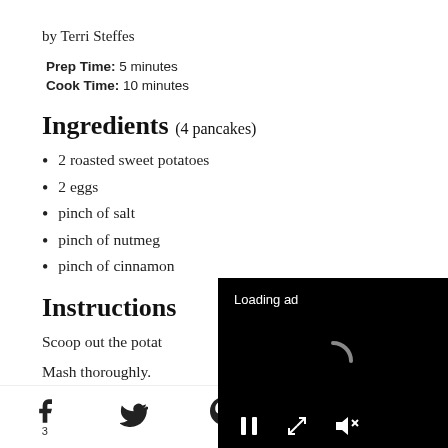by Terri Steffes
Prep Time: 5 minutes
Cook Time: 10 minutes
Ingredients (4 pancakes)
2 roasted sweet potatoes
2 eggs
pinch of salt
pinch of nutmeg
pinch of cinnamon
Instructions
Scoop out the potat…
Mash thoroughly.
Beat in two eggs, mixing well.
[Figure (screenshot): Loading ad overlay with spinner and playback controls on black background]
Social share icons: Facebook (3), Twitter, Pinterest (49), Email, other